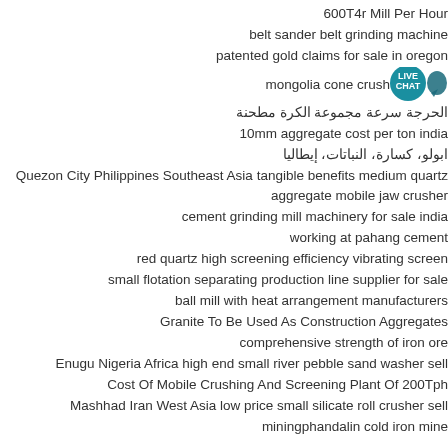600T4r Mill Per Hour
belt sander belt grinding machine
patented gold claims for sale in oregon
mongolia cone crusher
الحرجة سرعة مجموعة الكرة مطحنة
10mm aggregate cost per ton india
ابولو، كسارة، النباتات، إيطاليا
Quezon City Philippines Southeast Asia tangible benefits medium quartz
aggregate mobile jaw crusher
cement grinding mill machinery for sale india
working at pahang cement
red quartz high screening efficiency vibrating screen
small flotation separating production line supplier for sale
ball mill with heat arrangement manufacturers
Granite To Be Used As Construction Aggregates
comprehensive strength of iron ore
Enugu Nigeria Africa high end small river pebble sand washer sell
Cost Of Mobile Crushing And Screening Plant Of 200Tph
Mashhad Iran West Asia low price small silicate roll crusher sell
miningphandalin cold iron mine